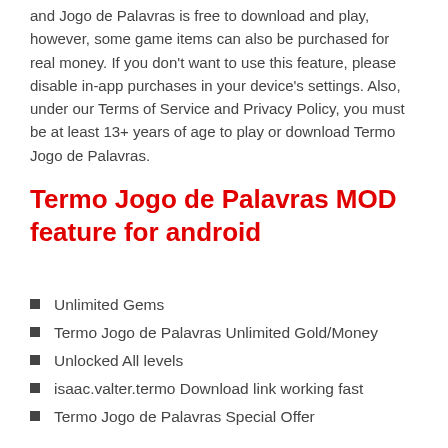and Jogo de Palavras is free to download and play, however, some game items can also be purchased for real money. If you don't want to use this feature, please disable in-app purchases in your device's settings. Also, under our Terms of Service and Privacy Policy, you must be at least 13+ years of age to play or download Termo Jogo de Palavras.
Termo Jogo de Palavras MOD feature for android
Unlimited Gems
Termo Jogo de Palavras Unlimited Gold/Money
Unlocked All levels
isaac.valter.termo Download link working fast
Termo Jogo de Palavras Special Offer